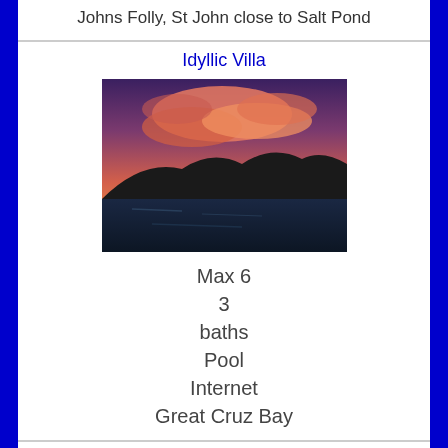Johns Folly, St John close to Salt Pond
Idyllic Villa
[Figure (photo): Sunset photo showing dramatic pink and orange clouds over dark hillside silhouette with water and boats in foreground]
Max 6
3
baths
Pool
Internet
Great Cruz Bay
In Harmony Retreat
[Figure (photo): Photo of terrace/deck area with pool, outdoor furniture, lush green hillside and blue sky with clouds]
Max 2